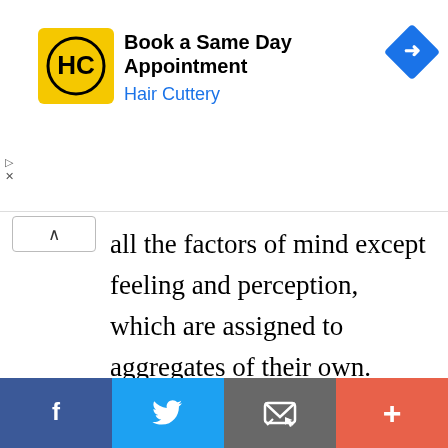[Figure (other): Advertisement banner for Hair Cuttery: 'Book a Same Day Appointment' with HC logo in yellow square and blue navigation arrow icon]
all the factors of mind except feeling and perception, which are assigned to aggregates of their own. Thus the sankhara-khandha comes to include such ethically variable factors as contact, attention, thought, and energy; such wholesome
This website uses cookies to ensure you get the best experience on our website.
Got it!
[Figure (other): Social sharing bar with Facebook, Twitter, email/share, and plus buttons]